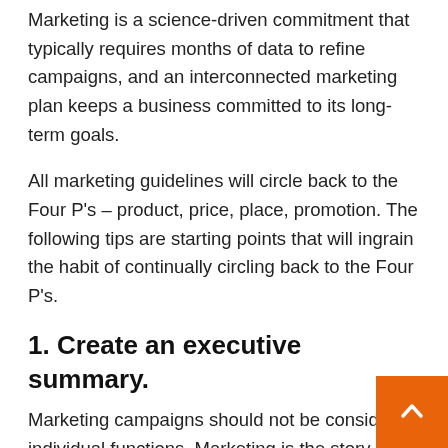Marketing is a science-driven commitment that typically requires months of data to refine campaigns, and an interconnected marketing plan keeps a business committed to its long-term goals.
All marketing guidelines will circle back to the Four P's – product, price, place, promotion. The following tips are starting points that will ingrain the habit of continually circling back to the Four P's.
1. Create an executive summary.
Marketing campaigns should not be considered individual functions. Marketing is the story of your brand as told to customers; like any narrative, its tone and characters should remain consistent. An executive summary details your marketing goals for the next year and helps tie each together. These goals should